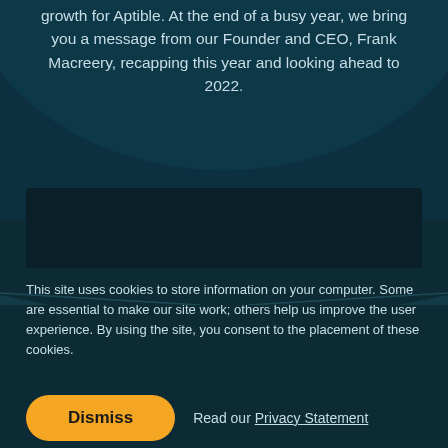growth for Aptible. At the end of a busy year, we bring you a message from our Founder and CEO, Frank Macreery, recapping this year and looking ahead to 2022.
[Figure (screenshot): Dark video embed placeholder box]
This site uses cookies to store information on your computer. Some are essential to make our site work; others help us improve the user experience. By using the site, you consent to the placement of these cookies.
Dismiss   Read our Privacy Statement